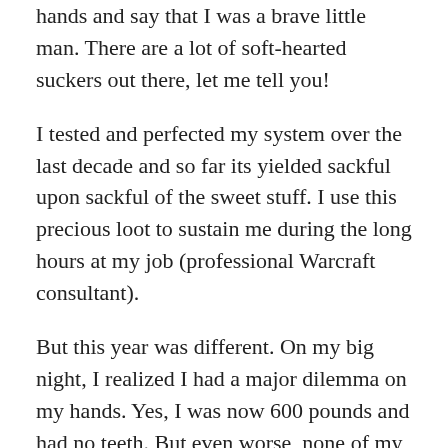hands and say that I was a brave little man. There are a lot of soft-hearted suckers out there, let me tell you!
I tested and perfected my system over the last decade and so far its yielded sackful upon sackful of the sweet stuff. I use this precious loot to sustain me during the long hours at my job (professional Warcraft consultant).
But this year was different. On my big night, I realized I had a major dilemma on my hands. Yes, I was now 600 pounds and had no teeth. But even worse, none of my old costumes seemed to fit anymore! Strewn on my bedroom floor were years worth of memories--there, my Jedi robes now ripped to tatters, and there, my latex Captain Picard mask, exploded and fit to command no more. My girth had laid waste to them all.
Even the holy of holies-- my mint condition Batman outfit